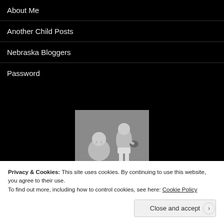About Me
Another Child Posts
Nebraska Bloggers
Password
[Figure (photo): Black and white photo of two toddlers, one standing wearing boxing gloves punching toward the other who is sitting and crying]
Privacy & Cookies: This site uses cookies. By continuing to use this website, you agree to their use.
To find out more, including how to control cookies, see here: Cookie Policy
Close and accept